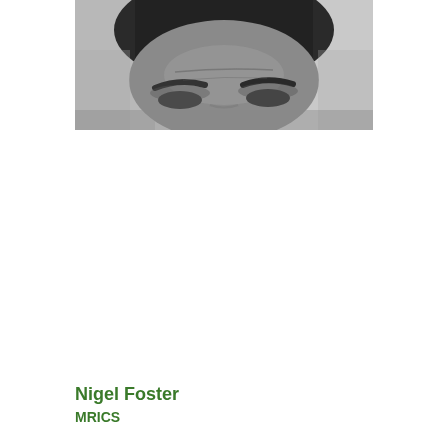[Figure (photo): Black and white close-up portrait photograph of a man's face, cropped at mid-forehead, showing dark short hair, prominent eyebrows, and forehead wrinkles.]
Nigel Foster
MRICS